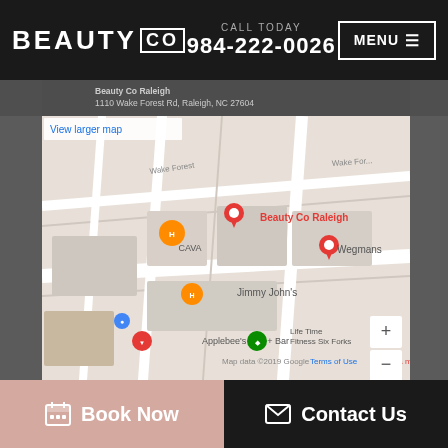BEAUTY CO | CALL TODAY 984-222-0026 | MENU
Beauty Co Raleigh
1110 Wake Forest Rd, Raleigh, NC 27604
[Figure (map): Google Maps embed showing Beauty Co Raleigh location, with nearby landmarks: CAVA, Wegmans, Jimmy John's, Applebee's Grill + Bar, Life Time Fitness Six Forks]
Click here to buy ZO Skin Health Products
Book Now | Contact Us